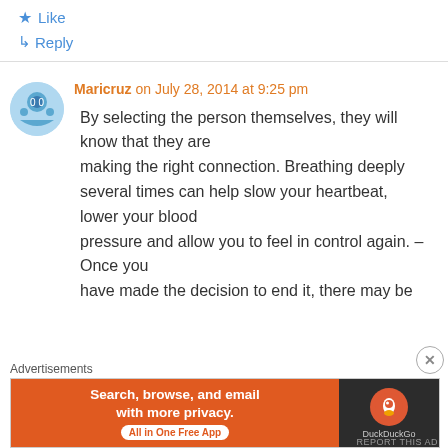★ Like
↳ Reply
Maricruz on July 28, 2014 at 9:25 pm
By selecting the person themselves, they will know that they are making the right connection. Breathing deeply several times can help slow your heartbeat, lower your blood pressure and allow you to feel in control again. – Once you have made the decision to end it, there may be
Advertisements
[Figure (screenshot): DuckDuckGo advertisement banner: orange left panel with text 'Search, browse, and email with more privacy. All in One Free App', dark right panel with DuckDuckGo duck logo and text 'DuckDuckGo']